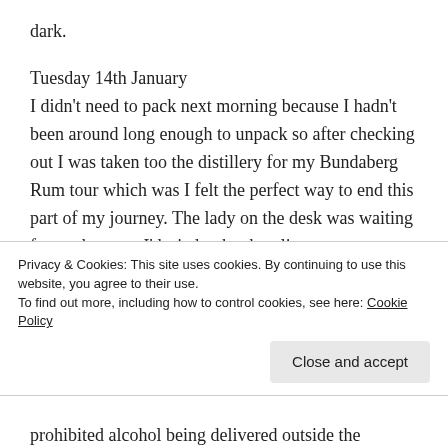dark.
Tuesday 14th January
I didn't need to pack next morning because I hadn't been around long enough to unpack so after checking out I was taken too the distillery for my Bundaberg Rum tour which was I felt the perfect way to end this part of my journey. The lady on the desk was waiting for me because I'd tried to book online to get a discount but couldn't. I emailed and discovered as my address was in the UK and (silly) Australian alcohol licencing laws prohibited alcohol being delivered outside the country
Privacy & Cookies: This site uses cookies. By continuing to use this website, you agree to their use.
To find out more, including how to control cookies, see here: Cookie Policy
Close and accept